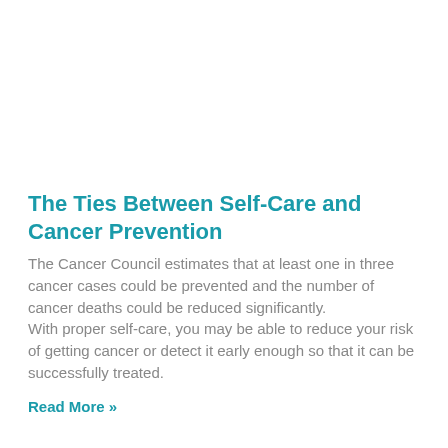The Ties Between Self-Care and Cancer Prevention
The Cancer Council estimates that at least one in three cancer cases could be prevented and the number of cancer deaths could be reduced significantly.
With proper self-care, you may be able to reduce your risk of getting cancer or detect it early enough so that it can be successfully treated.
Read More »